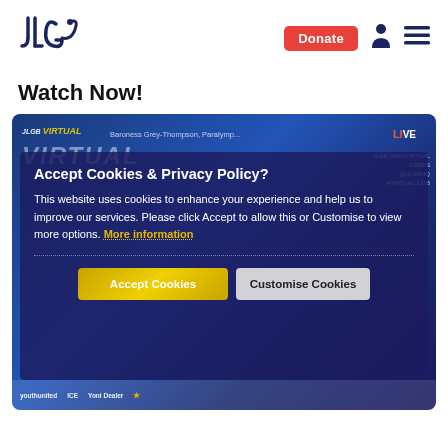[Figure (logo): JLGB organization logo in dark navy blue]
Donate
Watch Now!
[Figure (screenshot): Website screenshot showing a video player with a cookie consent overlay dialog. The dialog reads: 'Accept Cookies & Privacy Policy? This website uses cookies to enhance your experience and help us to improve our services. Please click Accept to allow this or Customise to view more options. More information' with two buttons: 'Accept Cookies' and 'Customise Cookies'. The video in the background shows a JLGB Virtual conference with Baroness Grey-Thompson, Paralympian, and a LIVE indicator.]